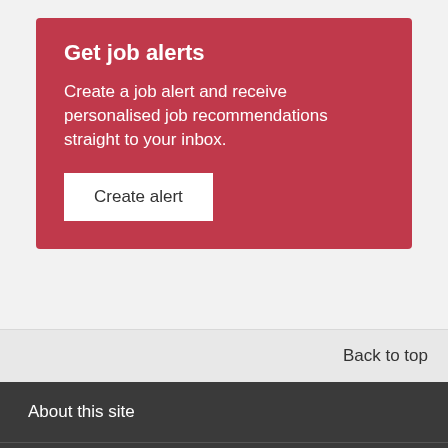Get job alerts
Create a job alert and receive personalised job recommendations straight to your inbox.
Create alert
Back to top
About this site
Contact Us
Terms & Conditions